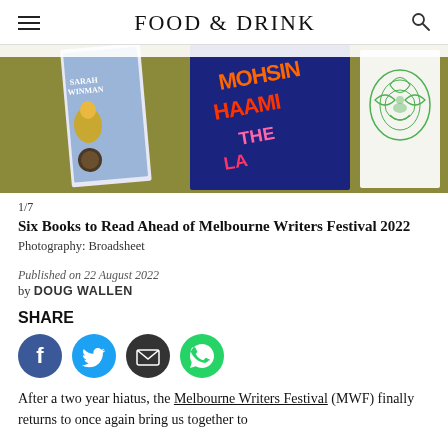FOOD & DRINK
[Figure (photo): Books laid on an olive/gold surface: Sarah Winman book on left, Mohsin Hamid book in centre, illustrated botanical/animal cover on right]
1/7
Six Books to Read Ahead of Melbourne Writers Festival 2022
Photography: Broadsheet
Published on 22 August 2022
by DOUG WALLEN
SHARE
[Figure (infographic): Social share icons: Facebook (blue circle), Twitter (teal circle), Email (dark grey circle with envelope), WhatsApp (green circle with phone)]
After a two year hiatus, the Melbourne Writers Festival (MWF) finally returns to once again bring us together to